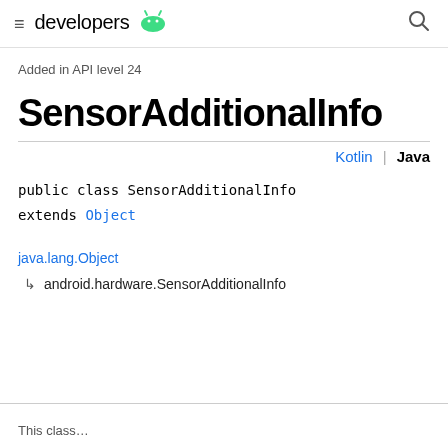≡ developers 🤖 🔍
Added in API level 24
SensorAdditionalInfo
Kotlin | Java
public class SensorAdditionalInfo
extends Object
java.lang.Object
  ↳ android.hardware.SensorAdditionalInfo